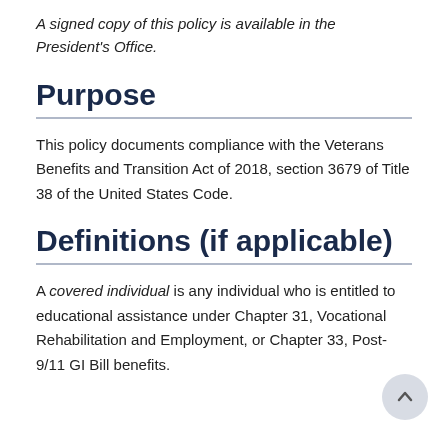A signed copy of this policy is available in the President's Office.
Purpose
This policy documents compliance with the Veterans Benefits and Transition Act of 2018, section 3679 of Title 38 of the United States Code.
Definitions (if applicable)
A covered individual is any individual who is entitled to educational assistance under Chapter 31, Vocational Rehabilitation and Employment, or Chapter 33, Post-9/11 GI Bill benefits.